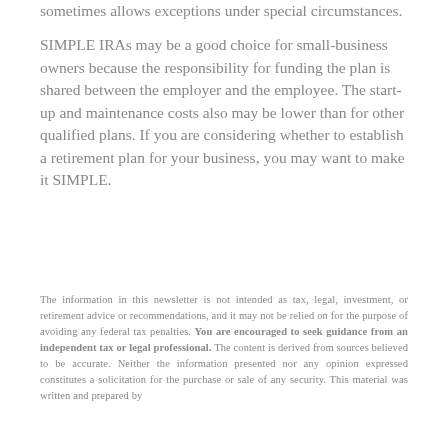sometimes allows exceptions under special circumstances.
SIMPLE IRAs may be a good choice for small-business owners because the responsibility for funding the plan is shared between the employer and the employee. The start-up and maintenance costs also may be lower than for other qualified plans. If you are considering whether to establish a retirement plan for your business, you may want to make it SIMPLE.
The information in this newsletter is not intended as tax, legal, investment, or retirement advice or recommendations, and it may not be relied on for the purpose of avoiding any federal tax penalties. You are encouraged to seek guidance from an independent tax or legal professional. The content is derived from sources believed to be accurate. Neither the information presented nor any opinion expressed constitutes a solicitation for the purchase or sale of any security. This material was written and prepared by